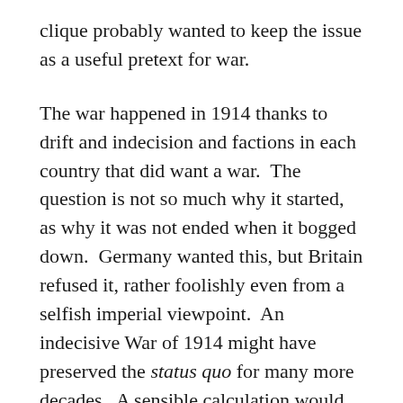clique probably wanted to keep the issue as a useful pretext for war.
The war happened in 1914 thanks to drift and indecision and factions in each country that did want a war.  The question is not so much why it started, as why it was not ended when it bogged down.  Germany wanted this, but Britain refused it, rather foolishly even from a selfish imperial viewpoint.  An indecisive War of 1914 might have preserved the status quo for many more decades.  A sensible calculation would have been that this was best for Britain, since Britain no longer had the industrial dominance it had had in the early-to-mid 19th